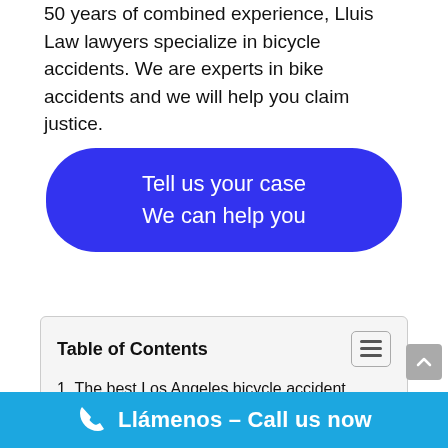50 years of combined experience, Lluis Law lawyers specialize in bicycle accidents. We are experts in bike accidents and we will help you claim justice.
[Figure (other): Blue rounded rectangle button with white text reading 'Tell us your case We can help you']
1. The best Los Angeles bicycle accident lawyers in South California
2. Who can my lawyer sue after a bicycle accident in Los Angeles?
3. Are bicycle accidents common in Los Angeles?
Llámenos - Call us now